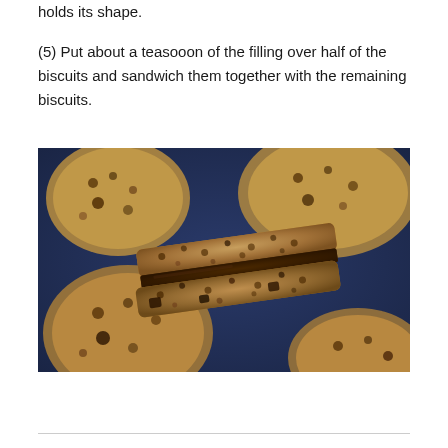holds its shape.
(5) Put about a teasooon of the filling over half of the biscuits and sandwich them together with the remaining biscuits.
[Figure (photo): Close-up photo of oat and chocolate chip sandwich biscuits on a dark blue background. One biscuit sandwich is shown from the side, revealing a thick chocolate ganache filling between two textured oat biscuits.]